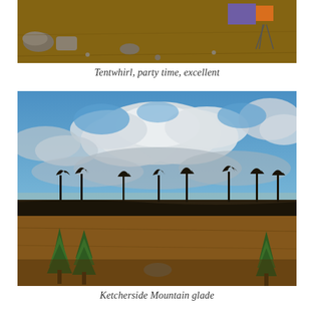[Figure (photo): Outdoor camping scene with rocky ground, brown dry grass, and camping gear/tent visible at the top of the image]
Tentwhirl, party time, excellent
[Figure (photo): Landscape photo of Ketcherside Mountain glade showing a dramatic cloudy sky with blue patches, bare deciduous trees along the horizon, small green cedar trees in the foreground, and brown dry grass on rocky ground]
Ketcherside Mountain glade